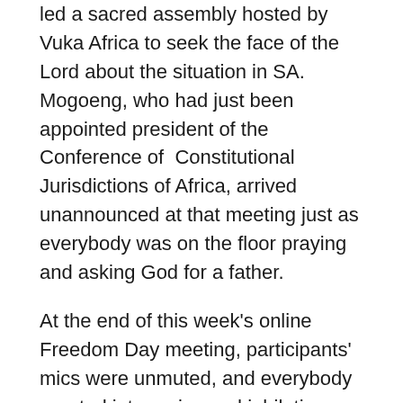led a sacred assembly hosted by Vuka Africa to seek the face of the Lord about the situation in SA. Mogoeng, who had just been appointed president of the Conference of Constitutional Jurisdictions of Africa, arrived unannounced at that meeting just as everybody was on the floor praying and asking God for a father.
At the end of this week's online Freedom Day meeting, participants' mics were unmuted, and everybody erupted into praise and jubilation. The meeting host eventually had to bring the meeting to a close as thanks and praises to God continues way after the scheduled end time.
For more information about the national healing campaign visit www.healingthenation.co.za or email